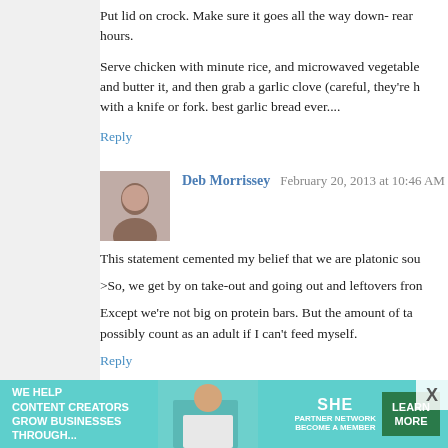Put lid on crock. Make sure it goes all the way down- rear hours.
Serve chicken with minute rice, and microwaved vegetable and butter it, and then grab a garlic clove (careful, they're h with a knife or fork. best garlic bread ever....
Reply
Deb Morrissey  February 20, 2013 at 10:46 AM
This statement cemented my belief that we are platonic sou
>So, we get by on take-out and going out and leftovers fron
Except we're not big on protein bars. But the amount of ta possibly count as an adult if I can't feed myself.
Reply
Diana C  February 20, 2013 at 10:51 AM
like tuna?
box of elbow noodles, cook 8 minutes in boiling water open a can of good tuna, drain off the water. Add to n
[Figure (infographic): SHE Media advertisement banner: 'We help content creators grow businesses through... SHE Partner Network - Become a Member' with Learn More button]